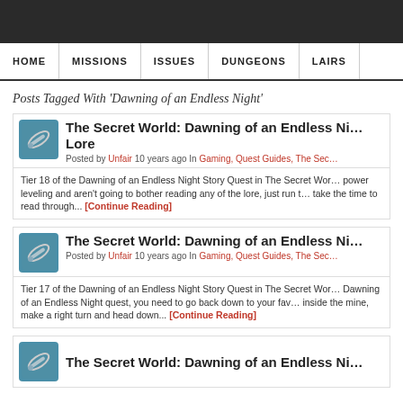Navigation: HOME | MISSIONS | ISSUES | DUNGEONS | LAIRS
Posts Tagged With ‘Dawning of an Endless Night’
The Secret World: Dawning of an Endless Night ... Lore
Posted by Unfair 10 years ago In Gaming, Quest Guides, The Sec...
Tier 18 of the Dawning of an Endless Night Story Quest in The Secret Wor... power leveling and aren't going to bother reading any of the lore, just run t... take the time to read through... [Continue Reading]
The Secret World: Dawning of an Endless Ni...
Posted by Unfair 10 years ago In Gaming, Quest Guides, The Sec...
Tier 17 of the Dawning of an Endless Night Story Quest in The Secret Wor... Dawning of an Endless Night quest, you need to go back down to your fav... inside the mine, make a right turn and head down... [Continue Reading]
The Secret World: Dawning of an Endless Ni...